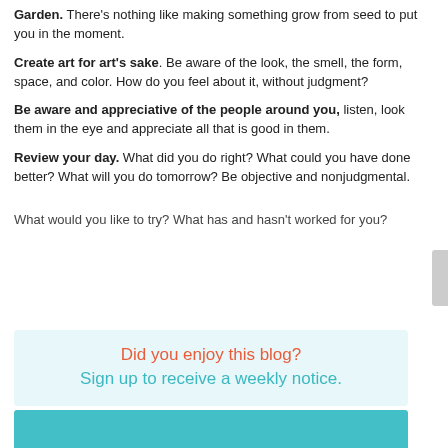Garden. There's nothing like making something grow from seed to put you in the moment.
Create art for art's sake. Be aware of the look, the smell, the form, space, and color. How do you feel about it, without judgment?
Be aware and appreciative of the people around you, listen, look them in the eye and appreciate all that is good in them.
Review your day. What did you do right? What could you have done better? What will you do tomorrow? Be objective and nonjudgmental.
What would you like to try? What has and hasn't worked for you?
Did you enjoy this blog?
Sign up to receive a weekly notice.